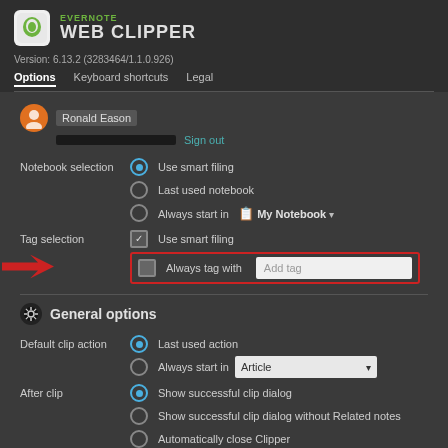EVERNOTE WEB CLIPPER
Version: 6.13.2 (3283464/1.1.0.926)
Options   Keyboard shortcuts   Legal
Ronald Eason  Sign out
Notebook selection   Use smart filing
Last used notebook
Always start in   My Notebook
Tag selection   Use smart filing
Always tag with   Add tag
General options
Default clip action   Last used action
Always start in   Article
After clip   Show successful clip dialog
Show successful clip dialog without Related notes
Automatically close Clipper
Related results   Show Evernote content related to my web searches.